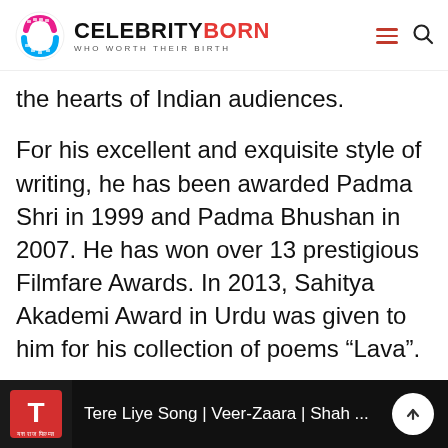CELEBRITYBORN WHO WORTH THEIR BIRTH
the hearts of Indian audiences.
For his excellent and exquisite style of writing, he has been awarded Padma Shri in 1999 and Padma Bhushan in 2007. He has won over 13 prestigious Filmfare Awards. In 2013, Sahitya Akademi Award in Urdu was given to him for his collection of poems “Lava”.
Javed Akhtar Popular Videos
[Figure (screenshot): Video thumbnail bar showing: T-Series logo on black background with text 'Tere Liye Song | Veer-Zaara | Shah ...' and a white circular scroll-up button on the right.]